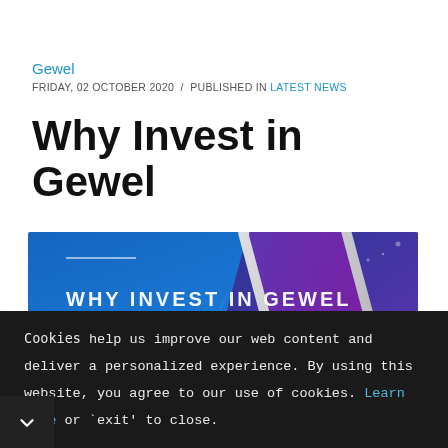Gewel
FRIDAY, 02 OCTOBER 2020 / PUBLISHED IN LATEST NEWS
Why Invest in Gewel
[Figure (illustration): Promotional banner image with blue/purple gradient background featuring a stylized tablet/phone device and white text reading 'WHY INVEST IN GEWEL']
Cookies help us improve our web content and deliver a personalized experience. By using this website, you agree to our use of cookies. Learn more or `exit' to close.